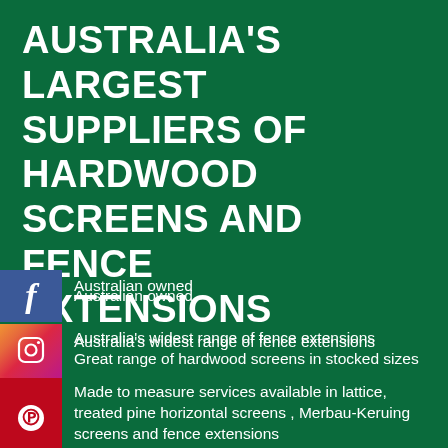AUSTRALIA'S LARGEST SUPPLIERS OF HARDWOOD SCREENS AND FENCE EXTENSIONS
Australian owned
Australia's widest range of fence extensions
Great range of hardwood screens in stocked sizes
Made to measure services available in lattice, treated pine horizontal screens , Merbau-Keruing screens and fence extensions
Delivery service available